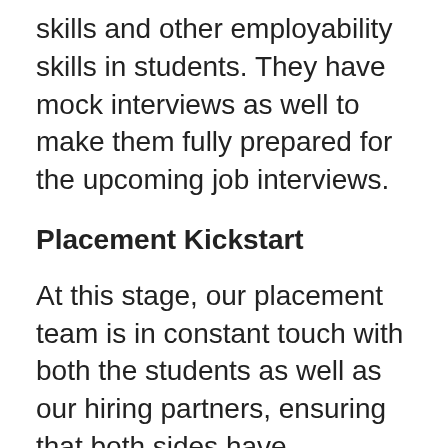skills and other employability skills in students. They have mock interviews as well to make them fully prepared for the upcoming job interviews.
Placement Kickstart
At this stage, our placement team is in constant touch with both the students as well as our hiring partners, ensuring that both sides have seamless communication.
From scouting and shortlisting companies to scheduling interviews to collecting feedback, and rolling out job offers – Our Placements team takes care of the Placement process – end to end.